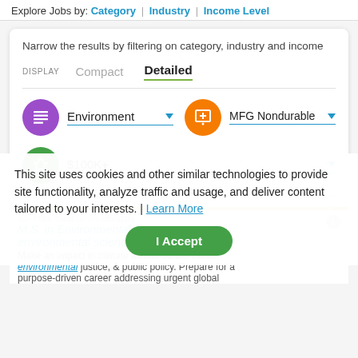Explore Jobs by: Category | Industry | Income Level
Narrow the results by filtering on category, industry and income
DISPLAY   Compact   Detailed
Environment ▼   MFG Nondurable ▼
$100K+ ▼
Ad · https://seas.umich.edu/apply
M.S. in Environmental Justice
environmental science & tech
Make an impact in climate action, conservation, environmental justice, & public policy. Prepare for a purpose-driven career addressing urgent global
This site uses cookies and other similar technologies to provide site functionality, analyze traffic and usage, and deliver content tailored to your interests. | Learn More
I Accept